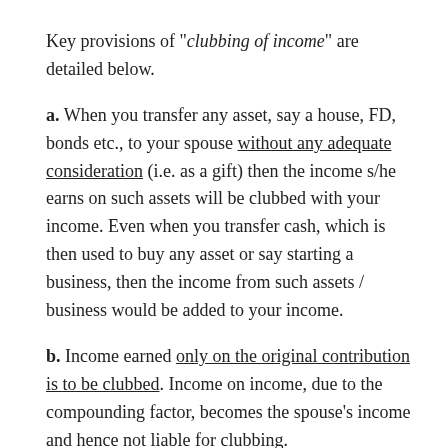Key provisions of "clubbing of income" are detailed below.
a. When you transfer any asset, say a house, FD, bonds etc., to your spouse without any adequate consideration (i.e. as a gift) then the income s/he earns on such assets will be clubbed with your income. Even when you transfer cash, which is then used to buy any asset or say starting a business, then the income from such assets / business would be added to your income.
b. Income earned only on the original contribution is to be clubbed. Income on income, due to the compounding factor, becomes the spouse's income and hence not liable for clubbing.
c. When it comes to the income of your minor children, the same too must be clubbed (unless they have earned it out